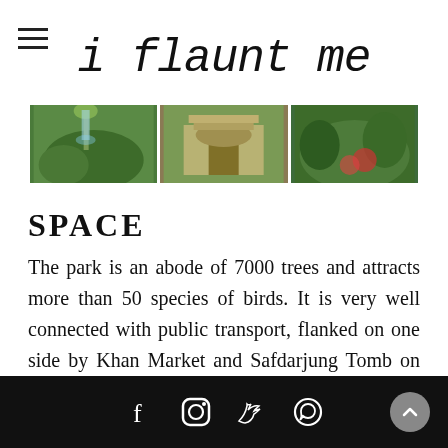i flaunt me
[Figure (photo): A horizontal strip of three garden/park photos showing trees, a stone arch gateway, and lush greenery]
SPACE
The park is an abode of 7000 trees and attracts more than 50 species of birds. It is very well connected with public transport, flanked on one side by Khan Market and Safdarjung Tomb on another side. A well-lit jogging track, a Rose Garden, and a Green House make the garden a visual delight.
Social media icons: Facebook, Instagram, Twitter, WhatsApp